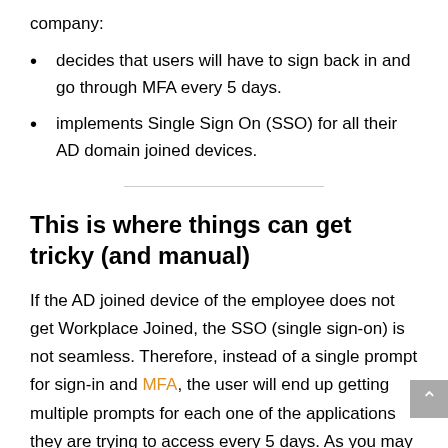company:
decides that users will have to sign back in and go through MFA every 5 days.
implements Single Sign On (SSO) for all their AD domain joined devices.
This is where things can get tricky (and manual)
If the AD joined device of the employee does not get Workplace Joined, the SSO (single sign-on) is not seamless. Therefore, instead of a single prompt for sign-in and MFA, the user will end up getting multiple prompts for each one of the applications they are trying to access every 5 days. As you may imagine this